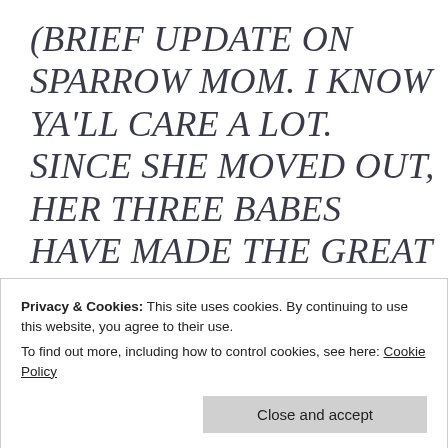(BRIEF UPDATE ON SPARROW MOM. I KNOW YA'LL CARE A LOT. SINCE SHE MOVED OUT, HER THREE BABES HAVE MADE THE GREAT LEAP OF LIFE AND TAKEN WING. I COULD NOT BE MORE PROUD OF THEM.
Privacy & Cookies: This site uses cookies. By continuing to use this website, you agree to their use.
To find out more, including how to control cookies, see here: Cookie Policy
Close and accept